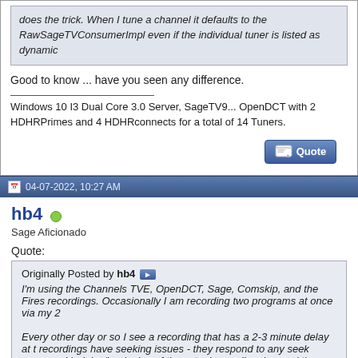does the trick. When I tune a channel it defaults to the RawSageTVConsumerImpl even if the individual tuner is listed as dynamic
Good to know ... have you seen any difference.
Windows 10 I3 Dual Core 3.0 Server, SageTV9... OpenDCT with 2 HDHRPrimes and 4 HDHRconnects for a total of 14 Tuners.
04-07-2022, 10:27 AM
hb4
Sage Aficionado
Quote:
Originally Posted by hb4
I'm using the Channels TVE, OpenDCT, Sage, Comskip, and the Fires recordings. Occasionally I am recording two programs at once via my 2

Every other day or so I see a recording that has a 2-3 minute delay at t recordings have seeking issues - they respond to any seek command b delay/beginning of the actual recording. I record them on ChannelsDVR seek and play just fine.

Suggestions on where to look?